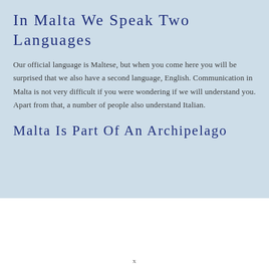In Malta We Speak Two Languages
Our official language is Maltese, but when you come here you will be surprised that we also have a second language, English. Communication in Malta is not very difficult if you were wondering if we will understand you. Apart from that, a number of people also understand Italian.
Malta Is Part Of An Archipelago
x